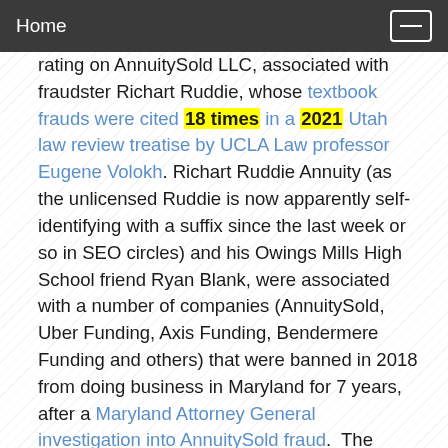Home
rating on AnnuitySold LLC, associated with fraudster Richart Ruddie, whose textbook frauds were cited 18 times in a 2021 Utah law review treatise by UCLA Law professor Eugene Volokh. Richart Ruddie Annuity (as the unlicensed Ruddie is now apparently self-identifying with a suffix since the last week or so in SEO circles) and his Owings Mills High School friend Ryan Blank, were associated with a number of companies (AnnuitySold, Uber Funding, Axis Funding, Bendermere Funding and others) that were banned in 2018 from doing business in Maryland for 7 years, after a Maryland Attorney General investigation into AnnuitySold fraud. The telephone number on the BBB listing for AnnuitySold LLC was not working at the time of publication.

BBB of Maryland also kept an A+ rating on Mount